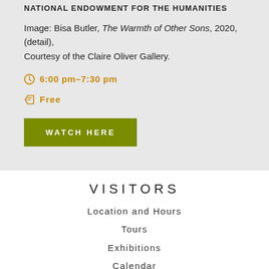NATIONAL ENDOWMENT FOR THE HUMANITIES
Image: Bisa Butler, The Warmth of Other Sons, 2020, (detail), Courtesy of the Claire Oliver Gallery.
6:00 pm–7:30 pm
Free
WATCH HERE
VISITORS
Location and Hours
Tours
Exhibitions
Calendar
About Us
Families
Community Access